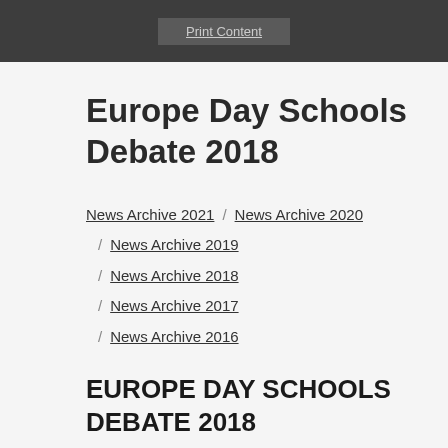Print Content
Europe Day Schools Debate 2018
News Archive 2021 / News Archive 2020 / News Archive 2019 / News Archive 2018 / News Archive 2017 / News Archive 2016
EUROPE DAY SCHOOLS DEBATE 2018
10 May 2018